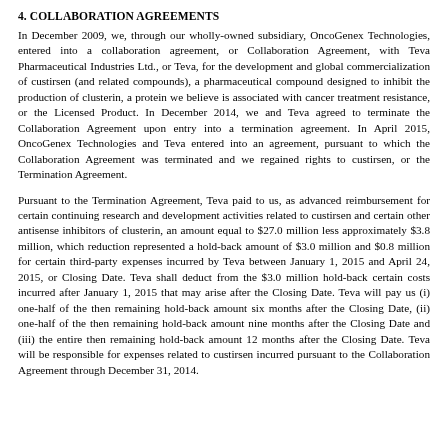4. COLLABORATION AGREEMENTS
In December 2009, we, through our wholly-owned subsidiary, OncoGenex Technologies, entered into a collaboration agreement, or Collaboration Agreement, with Teva Pharmaceutical Industries Ltd., or Teva, for the development and global commercialization of custirsen (and related compounds), a pharmaceutical compound designed to inhibit the production of clusterin, a protein we believe is associated with cancer treatment resistance, or the Licensed Product. In December 2014, we and Teva agreed to terminate the Collaboration Agreement upon entry into a termination agreement. In April 2015, OncoGenex Technologies and Teva entered into an agreement, pursuant to which the Collaboration Agreement was terminated and we regained rights to custirsen, or the Termination Agreement.
Pursuant to the Termination Agreement, Teva paid to us, as advanced reimbursement for certain continuing research and development activities related to custirsen and certain other antisense inhibitors of clusterin, an amount equal to $27.0 million less approximately $3.8 million, which reduction represented a hold-back amount of $3.0 million and $0.8 million for certain third-party expenses incurred by Teva between January 1, 2015 and April 24, 2015, or Closing Date. Teva shall deduct from the $3.0 million hold-back certain costs incurred after January 1, 2015 that may arise after the Closing Date. Teva will pay us (i) one-half of the then remaining hold-back amount six months after the Closing Date, (ii) one-half of the then remaining hold-back amount nine months after the Closing Date and (iii) the entire then remaining hold-back amount 12 months after the Closing Date. Teva will be responsible for expenses related to custirsen incurred pursuant to the Collaboration Agreement through December 31, 2014.